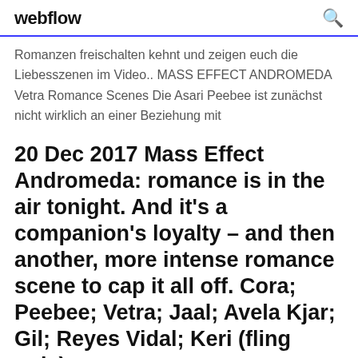webflow
Romanzen freischalten kehnt und zeigen euch die Liebesszenen im Video.. MASS EFFECT ANDROMEDA Vetra Romance Scenes Die Asari Peebee ist zunächst nicht wirklich an einer Beziehung mit
20 Dec 2017 Mass Effect Andromeda: romance is in the air tonight. And it's a companion's loyalty – and then another, more intense romance scene to cap it all off. Cora; Peebee; Vetra; Jaal; Avela Kjar; Gil; Reyes Vidal; Keri (fling only).